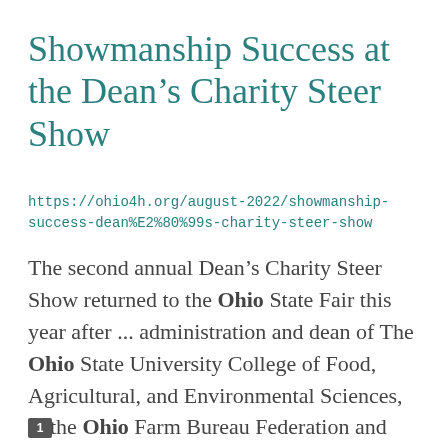Showmanship Success at the Dean’s Charity Steer Show
https://ohio4h.org/august-2022/showmanship-success-dean%E2%80%99s-charity-steer-show
The second annual Dean’s Charity Steer Show returned to the Ohio State Fair this year after ... administration and dean of The Ohio State University College of Food, Agricultural, and Environmental Sciences, ... the Ohio Farm Bureau Federation and previous Ohio 4-H Foundation board member; Ty Higgins, senior ...
1